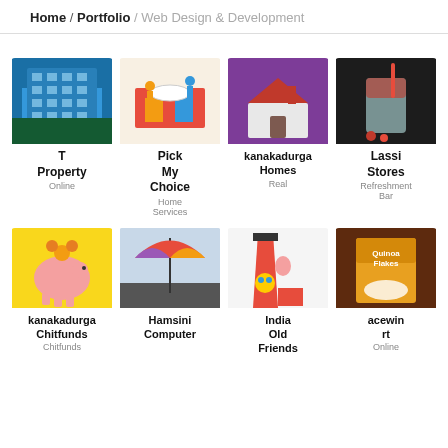Home / Portfolio / Web Design & Development
[Figure (screenshot): Portfolio grid showing web design & development projects including T Property, Pick My Choice, kanakadurga Homes, Lassi Stores in row 1, and kanakadurga Chitfunds, Hamsini Computer, India Old Friends, acewin rt Online in row 2]
T Property
Online
Pick My Choice
Home Services
kanakadurga Homes
Real
Lassi Stores
Refreshment Bar
kanakadurga Chitfunds
Chitfunds
Hamsini Computer
India Old Friends
acewin rt
Online